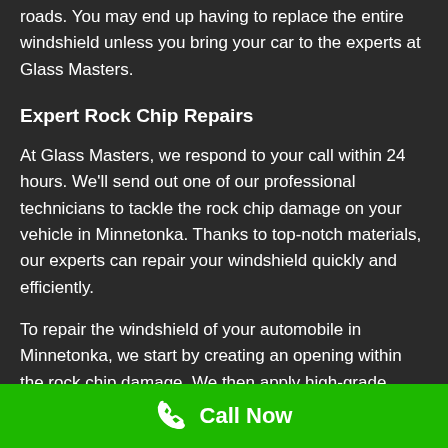roads. You may end up having to replace the entire windshield unless you bring your car to the experts at Glass Masters.
Expert Rock Chip Repairs
At Glass Masters, we respond to your call within 24 hours. We'll send out one of our professional technicians to tackle the rock chip damage on your vehicle in Minnetonka. Thanks to top-notch materials, our experts can repair your windshield quickly and efficiently.
To repair the windshield of your automobile in Minnetonka, we start by creating an opening within the rock chip damage. We then apply high-grade resins to seal the crack. Once the first
Call Now